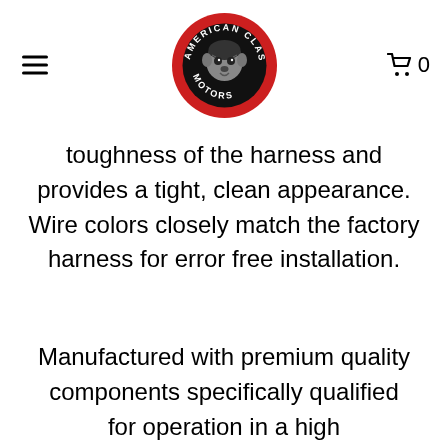American Classic Motors — navigation header with logo
toughness of the harness and provides a tight, clean appearance. Wire colors closely match the factory harness for error free installation.
Manufactured with premium quality components specifically qualified for operation in a high